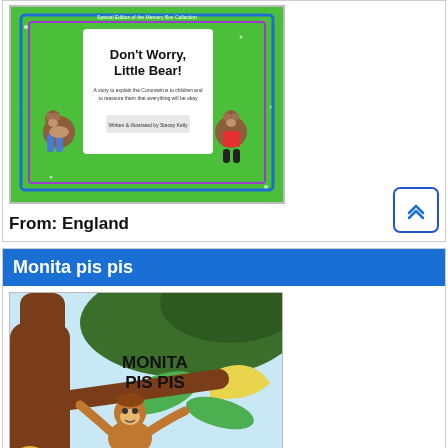[Figure (illustration): Book cover: Don't Worry, Little Bear! - green background with bear illustrations, blue/purple border frame, subtitle about Coronavirus, authored by Stacey Kelly. Special Edition of the Memory Box Collection.]
From: England
Monita pis pis
[Figure (illustration): Book cover: MONITA PIS PIS - illustrated with a monkey climbing a tree with tropical leaves and bright colors.]